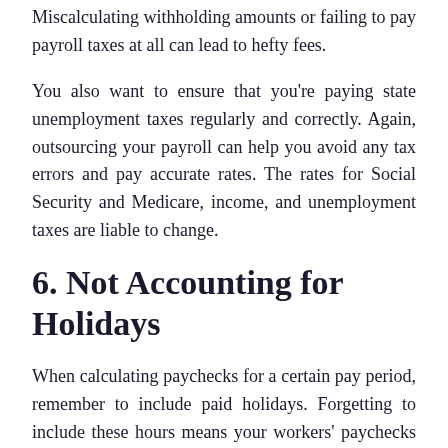Miscalculating withholding amounts or failing to pay payroll taxes at all can lead to hefty fees.
You also want to ensure that you're paying state unemployment taxes regularly and correctly. Again, outsourcing your payroll can help you avoid any tax errors and pay accurate rates. The rates for Social Security and Medicare, income, and unemployment taxes are liable to change.
6. Not Accounting for Holidays
When calculating paychecks for a certain pay period, remember to include paid holidays. Forgetting to include these hours means your workers' paychecks will come up short. Plus, you'd have to take the time to correct the error afterward.